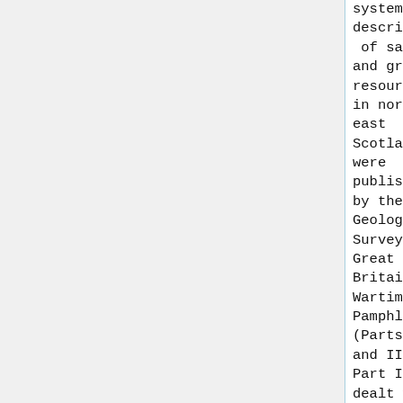systematic descriptions of sand and gravel resources in north-east Scotland were published by the Geological Survey of Great Britain in Wartime Pamphlet 30 (Parts I and II). Part I dealt with deposits in
systematic descriptions of sand and gravel resources in north-east Scotland were published by the Geological Survey of Great Britain in Wartime Pamphlet 30 (Parts I and II). Part I dealt with deposits in